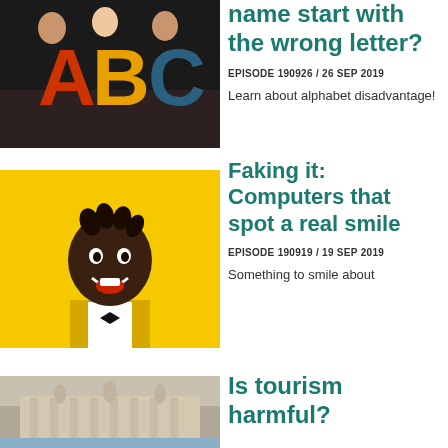[Figure (photo): Three people peeking behind large colorful letters A, B, C on a dark floor]
name start with the wrong letter?
EPISODE 190926 / 26 SEP 2019
Learn about alphabet disadvantage!
[Figure (photo): Smiling man with bow tie against yellow background]
Faking it: Computers that spot a real smile
EPISODE 190919 / 19 SEP 2019
Something to smile about
[Figure (photo): Trevi Fountain with statues and architecture]
Is tourism harmful?